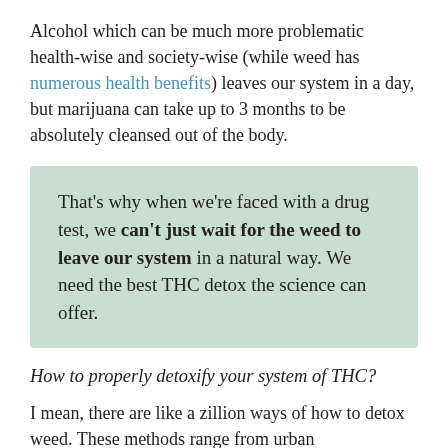Alcohol which can be much more problematic health-wise and society-wise (while weed has numerous health benefits) leaves our system in a day, but marijuana can take up to 3 months to be absolutely cleansed out of the body.
That's why when we're faced with a drug test, we can't just wait for the weed to leave our system in a natural way. We need the best THC detox the science can offer.
How to properly detoxify your system of THC?
I mean, there are like a zillion ways of how to detox weed. These methods range from urban